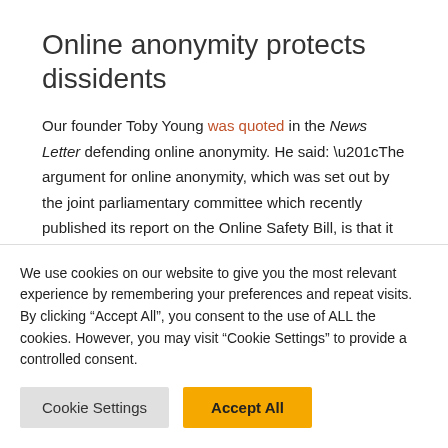Online anonymity protects dissidents
Our founder Toby Young was quoted in the News Letter defending online anonymity. He said: “The argument for online anonymity, which was set out by the joint parliamentary committee which recently published its report on the Online Safety Bill, is that it provides marginalised, vulnerable people, as well as whistleblowers, with the cover they need to speak out.”
Andrew Hunt wrote in the Critic about how the struggle for clicks
We use cookies on our website to give you the most relevant experience by remembering your preferences and repeat visits. By clicking “Accept All”, you consent to the use of ALL the cookies. However, you may visit “Cookie Settings” to provide a controlled consent.